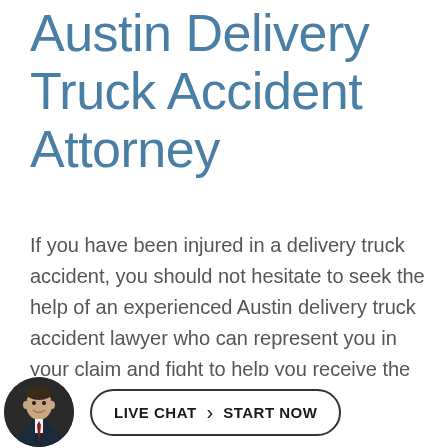Austin Delivery Truck Accident Attorney
If you have been injured in a delivery truck accident, you should not hesitate to seek the help of an experienced Austin delivery truck accident lawyer who can represent you in your claim and fight to help you receive the amount you deserve. Recovering financial compensation after a truck accident can be difficult, as the
[Figure (photo): Circular avatar photo of an attorney in a suit with a red tie, cropped to head and shoulders]
LIVE CHAT  START NOW